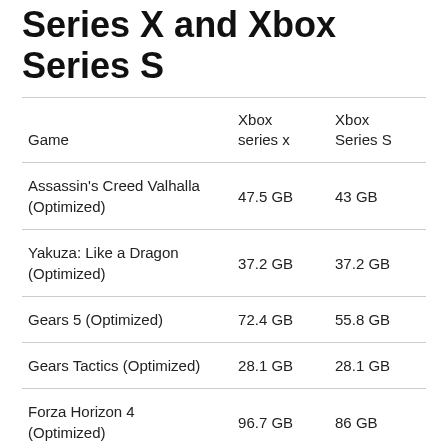Series X and Xbox Series S
| Game | Xbox series x | Xbox Series S |
| --- | --- | --- |
| Assassin's Creed Valhalla (Optimized) | 47.5 GB | 43 GB |
| Yakuza: Like a Dragon (Optimized) | 37.2 GB | 37.2 GB |
| Gears 5 (Optimized) | 72.4 GB | 55.8 GB |
| Gears Tactics (Optimized) | 28.1 GB | 28.1 GB |
| Forza Horizon 4 (Optimized) | 96.7 GB | 86 GB |